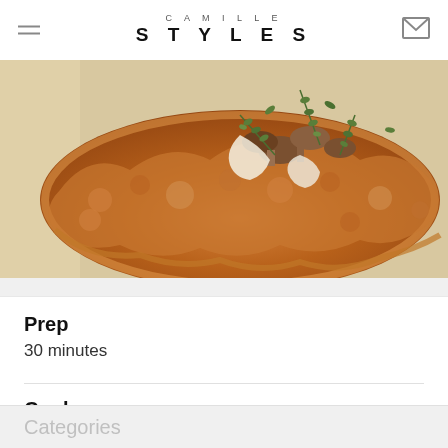CAMILLE STYLES
[Figure (photo): Close-up photo of a golden-brown baked galette or pastry with mushrooms, herbs (thyme), and cream/cheese on top, placed on parchment paper.]
Prep
30 minutes
Cook
50 minutes
Categories